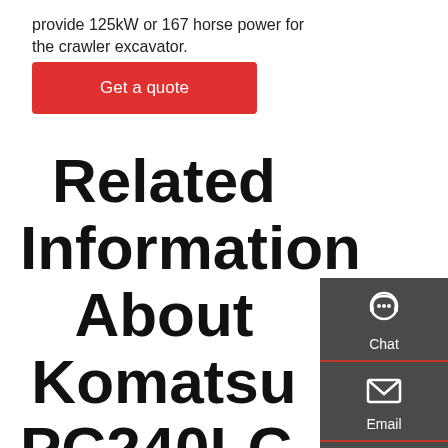provide 125kW or 167 horse power for the crawler excavator.
Get a quote
Related Information About Komatsu PC240LC-7 Hydraulic Excavator
[Figure (other): Side contact panel with three items: Chat (headset icon), Email (envelope icon), Contact (speech bubble icon), on dark grey background]